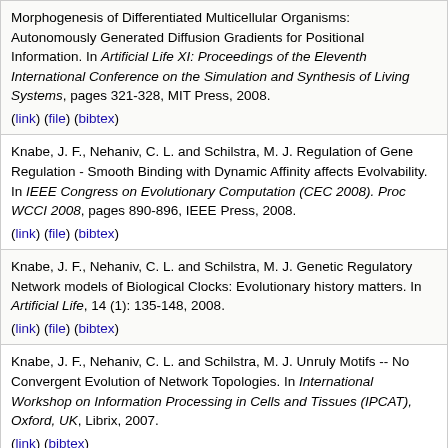Morphogenesis of Differentiated Multicellular Organisms: Autonomously Generated Diffusion Gradients for Positional Information. In Artificial Life XI: Proceedings of the Eleventh International Conference on the Simulation and Synthesis of Living Systems, pages 321-328, MIT Press, 2008. (link) (file) (bibtex)
Knabe, J. F., Nehaniv, C. L. and Schilstra, M. J. Regulation of Gene Regulation - Smooth Binding with Dynamic Affinity affects Evolvability. In IEEE Congress on Evolutionary Computation (CEC 2008). Proc WCCI 2008, pages 890-896, IEEE Press, 2008. (link) (file) (bibtex)
Knabe, J. F., Nehaniv, C. L. and Schilstra, M. J. Genetic Regulatory Network models of Biological Clocks: Evolutionary history matters. In Artificial Life, 14 (1): 135-148, 2008. (link) (file) (bibtex)
Knabe, J. F., Nehaniv, C. L. and Schilstra, M. J. Unruly Motifs -- No Convergent Evolution of Network Topologies. In International Workshop on Information Processing in Cells and Tissues (IPCAT), Oxford, UK, Librix, 2007. (link) (bibtex)
Wegner, K., Knabe, J., Robinson, M., Egri-Nagy, A. and Schilstra, M.